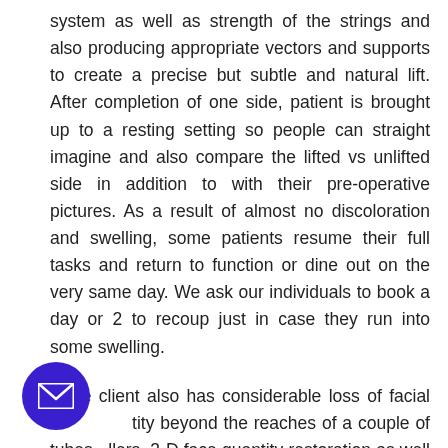system as well as strength of the strings and also producing appropriate vectors and supports to create a precise but subtle and natural lift. After completion of one side, patient is brought up to a resting setting so people can straight imagine and also compare the lifted vs unlifted side in addition to with their pre-operative pictures. As a result of almost no discoloration and swelling, some patients resume their full tasks and return to function or dine out on the very same day. We ask our individuals to book a day or 2 to recoup just in case they run into some swelling.
If the client also has considerable loss of facial quantity beyond the reaches of a couple of tubes fillers, 3-D face quantity restoration as well as re-contouring with fat transfer is likewise
[Figure (other): Circular email contact button with dark purple/indigo background and white envelope icon]